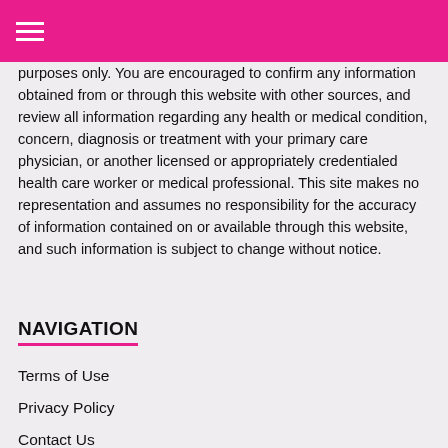purposes only. You are encouraged to confirm any information obtained from or through this website with other sources, and review all information regarding any health or medical condition, concern, diagnosis or treatment with your primary care physician, or another licensed or appropriately credentialed health care worker or medical professional. This site makes no representation and assumes no responsibility for the accuracy of information contained on or available through this website, and such information is subject to change without notice.
NAVIGATION
Terms of Use
Privacy Policy
Contact Us
Advertise With Us